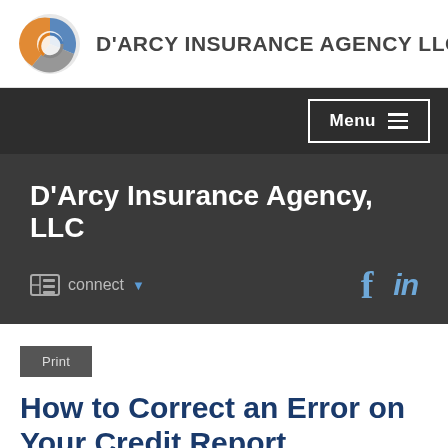[Figure (logo): D'Arcy Insurance Agency LLC logo — a swirl with blue, grey and orange segments — next to the text D'ARCY INSURANCE AGENCY LLC]
D'ARCY INSURANCE AGENCY LLC
Menu ≡
D'Arcy Insurance Agency, LLC
connect ▼
f  in
Print
How to Correct an Error on Your Credit Report